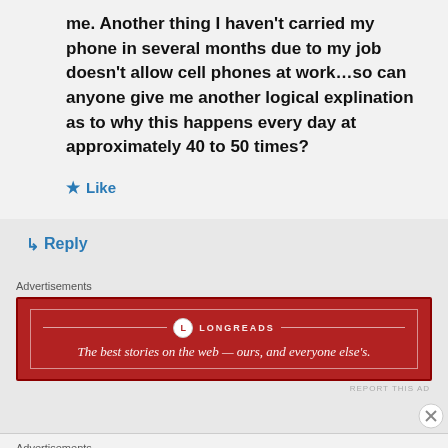me. Another thing I haven't carried my phone in several months due to my job doesn't allow cell phones at work…so can anyone give me another logical explination as to why this happens every day at approximately 40 to 50 times?
★ Like
↳ Reply
Advertisements
[Figure (screenshot): Longreads advertisement banner — red background with white border, logo and tagline: 'The best stories on the web — ours, and everyone else's.']
REPORT THIS AD
Advertisements